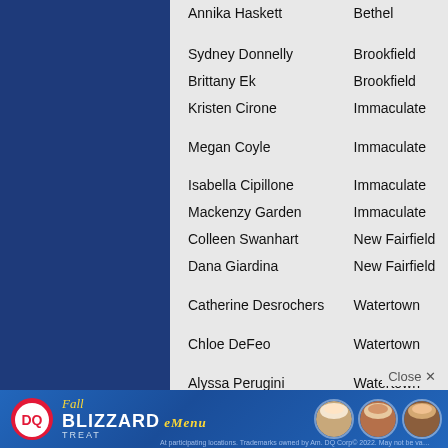Annika Haskett — Bethel
Sydney Donnelly — Brookfield
Brittany Ek — Brookfield
Kristen Cirone — Immaculate
Megan Coyle — Immaculate
Isabella Cipillone — Immaculate
Mackenzy Garden — Immaculate
Colleen Swanhart — New Fairfield
Dana Giardina — New Fairfield
Catherine Desrochers — Watertown
Chloe DeFeo — Watertown
Alyssa Perugini — Watertown
Kayla Fac — Watertown
Emma Radisch — Weston
[Figure (infographic): Dairy Queen Fall Blizzard Menu advertisement banner with DQ logo, ice cream cups, and text]